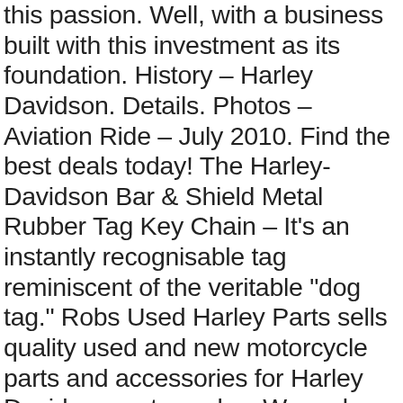this passion. Well, with a business built with this investment as its foundation. History – Harley Davidson. Details. Photos – Aviation Ride – July 2010. Find the best deals today! The Harley-Davidson Bar & Shield Metal Rubber Tag Key Chain – It's an instantly recognisable tag reminiscent of the veritable "dog tag." Robs Used Harley Parts sells quality used and new motorcycle parts and accessories for Harley Davidson motorcycles. We make sure that all motorcycles that go through our dealership deliver in optimum performance, which is why choosing genuine HarleyÂ® parts guarantees you're keeping your bike in prime condition. Please understand that Harley-Davidson has three crews working round-the-clock to get parts shipped out to dealers around the country, but they are experiencing a 5-7 day delay. If you would like to make an inquiry, call 0363444524 or email parts@rhd.com.au with your Required Part, Motorcycle Year, Make & Model, and a contact phone